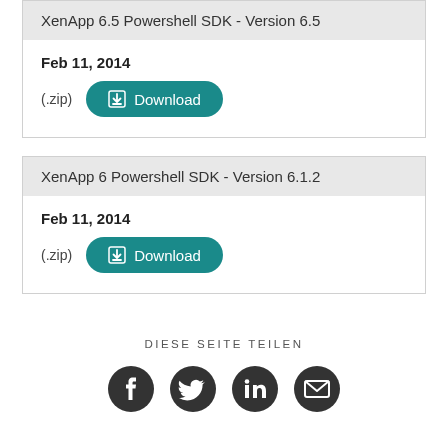XenApp 6.5 Powershell SDK - Version 6.5
Feb 11, 2014
(.zip)  Download
XenApp 6 Powershell SDK - Version 6.1.2
Feb 11, 2014
(.zip)  Download
DIESE SEITE TEILEN
[Figure (other): Social share icons: Facebook, Twitter, LinkedIn, Email]